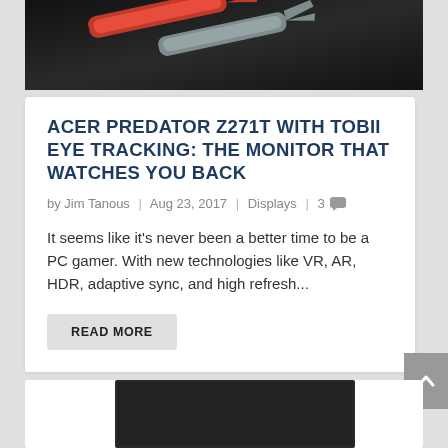[Figure (photo): Dark background photo showing red and grey scissor-like or plier tool handles on a dark surface]
ACER PREDATOR Z271T WITH TOBII EYE TRACKING: THE MONITOR THAT WATCHES YOU BACK
by Jim Tanous | Aug 23, 2017 | Displays | 3
It seems like it's never been a better time to be a PC gamer. With new technologies like VR, AR, HDR, adaptive sync, and high refresh...
READ MORE
[Figure (photo): Bottom portion of a dark-colored computer monitor on a white background]